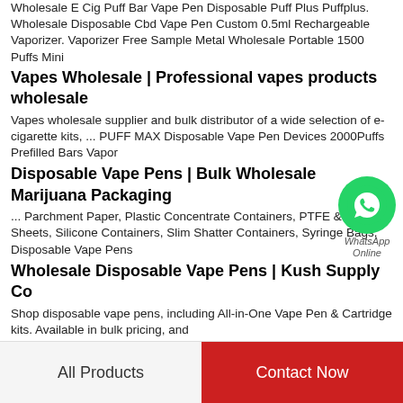Wholesale E Cig Puff Bar Vape Pen Disposable Puff Plus Puffplus. Wholesale Disposable Cbd Vape Pen Custom 0.5ml Rechargeable Vaporizer. Vaporizer Free Sample Metal Wholesale Portable 1500 Puffs Mini
Vapes Wholesale | Professional vapes products wholesale
Vapes wholesale supplier and bulk distributor of a wide selection of e-cigarette kits, ... PUFF MAX Disposable Vape Pen Devices 2000Puffs Prefilled Bars Vapor
Disposable Vape Pens | Bulk Wholesale Marijuana Packaging
... Parchment Paper, Plastic Concentrate Containers, PTFE & FEP Sheets, Silicone Containers, Slim Shatter Containers, Syringe Bags, Disposable Vape Pens
Wholesale Disposable Vape Pens | Kush Supply Co
Shop disposable vape pens, including All-in-One Vape Pen & Cartridge kits. Available in bulk pricing, and
[Figure (logo): WhatsApp contact widget with green circle icon and 'WhatsApp Online' italic label]
All Products
Contact Now